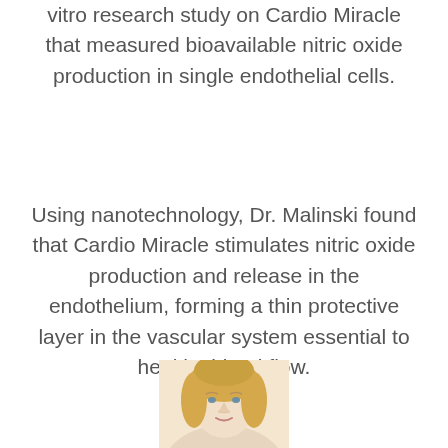vitro research study on Cardio Miracle that measured bioavailable nitric oxide production in single endothelial cells.
Using nanotechnology, Dr. Malinski found that Cardio Miracle stimulates nitric oxide production and release in the endothelium, forming a thin protective layer in the vascular system essential to healthy blood flow.
[Figure (photo): Partial photo of a blonde woman, cropped at the bottom of the page, showing head and shoulders.]